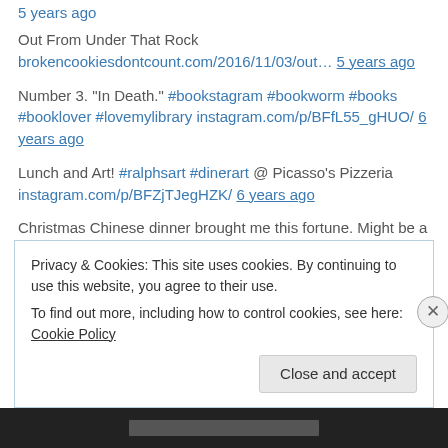5 years ago
Out From Under That Rock
brokencookiesdontcount.com/2016/11/03/out… 5 years ago
Number 3. "In Death." #bookstagram #bookworm #books #booklover #lovemylibrary instagram.com/p/BFfL55_gHUO/ 6 years ago
Lunch and Art! #ralphsart #dinerart @ Picasso's Pizzeria instagram.com/p/BFZjTJegHZK/ 6 years ago
Christmas Chinese dinner brought me this fortune. Might be a good thing to contemplate in the new… instagram.com/p/_uwRaBgHWF/ 6 years ago
Privacy & Cookies: This site uses cookies. By continuing to use this website, you agree to their use.
To find out more, including how to control cookies, see here: Cookie Policy
Close and accept